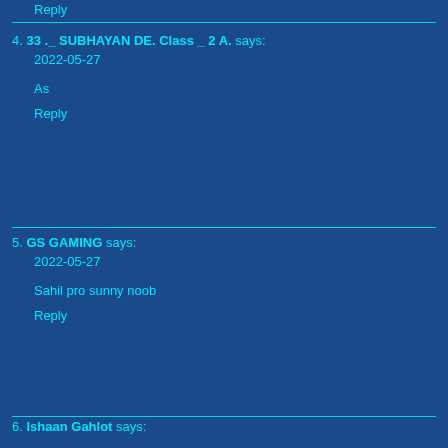Reply
4. 33 ._ SUBHAYAN DE. Class _ 2 A. says:
2022-05-27

As

Reply
5. GS GAMING says:
2022-05-27

Sahil pro sunny noob

Reply
6. Ishaan Gahlot says: